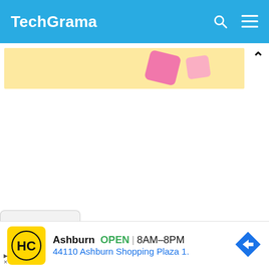TechGrama
[Figure (illustration): Partial view of a banner image with yellow/cream background and pink decorative shapes, cropped at top of visible area. An up-caret/chevron icon appears on the right.]
[Figure (screenshot): White content area below the banner, mostly blank white space.]
[Figure (other): A dropdown tab with a downward chevron icon at the bottom left of the content area.]
Ashburn  OPEN  8AM–8PM
44110 Ashburn Shopping Plaza 1.